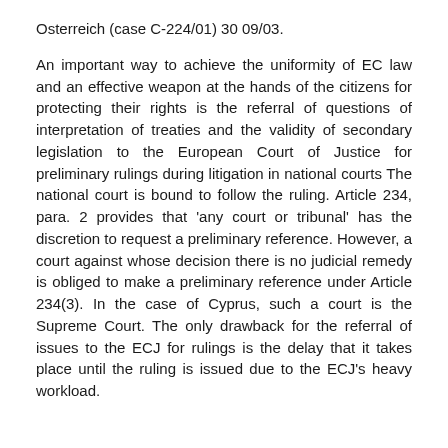Osterreich (case C-224/01) 30 09/03.
An important way to achieve the uniformity of EC law and an effective weapon at the hands of the citizens for protecting their rights is the referral of questions of interpretation of treaties and the validity of secondary legislation to the European Court of Justice for preliminary rulings during litigation in national courts The national court is bound to follow the ruling. Article 234, para. 2 provides that 'any court or tribunal' has the discretion to request a preliminary reference. However, a court against whose decision there is no judicial remedy is obliged to make a preliminary reference under Article 234(3). In the case of Cyprus, such a court is the Supreme Court. The only drawback for the referral of issues to the ECJ for rulings is the delay that it takes place until the ruling is issued due to the ECJ's heavy workload.